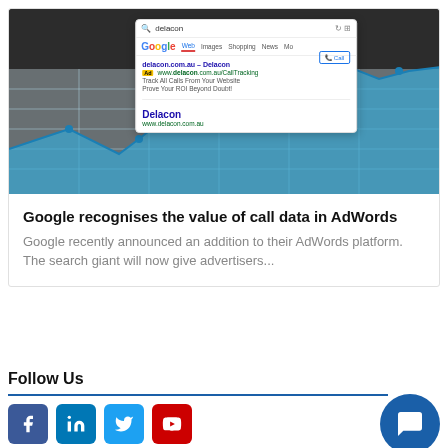[Figure (screenshot): Google search results page showing Delacon search query with an ad result for delacon.com.au and an organic result for Delacon, overlaid on a dark chart background]
Google recognises the value of call data in AdWords
Google recently announced an addition to their AdWords platform. The search giant will now give advertisers...
Follow Us
[Figure (infographic): Social media buttons: Facebook, LinkedIn, Twitter, YouTube and a chat button]